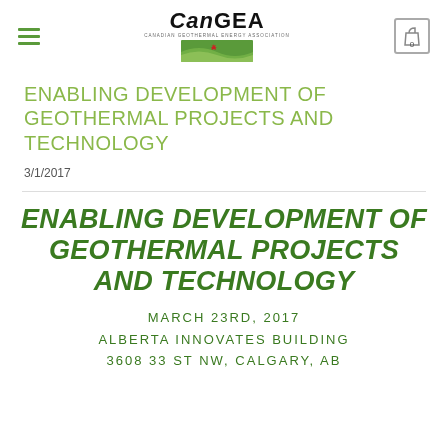CanGEA — Canadian Geothermal Energy Association
ENABLING DEVELOPMENT OF GEOTHERMAL PROJECTS AND TECHNOLOGY
3/1/2017
ENABLING DEVELOPMENT OF GEOTHERMAL PROJECTS AND TECHNOLOGY
MARCH 23RD, 2017
ALBERTA INNOVATES BUILDING
3608 33 ST NW, CALGARY, AB